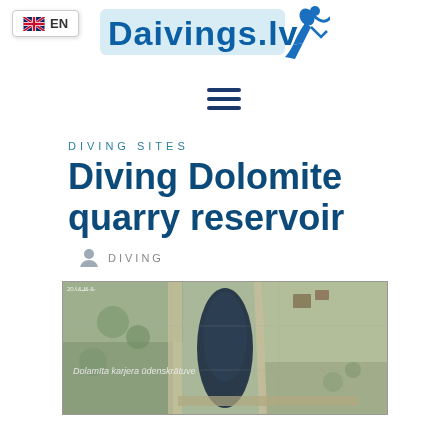EN — Daivings.lv (logo with diver)
[Figure (other): Hamburger menu icon (three horizontal lines)]
DIVING SITES
Diving Dolomite quarry reservoir
DIVING
[Figure (map): Satellite map showing Dolomita karjera ūdenskrātuve (Dolomite quarry reservoir), with a dark elongated water body visible surrounded by land and roads]